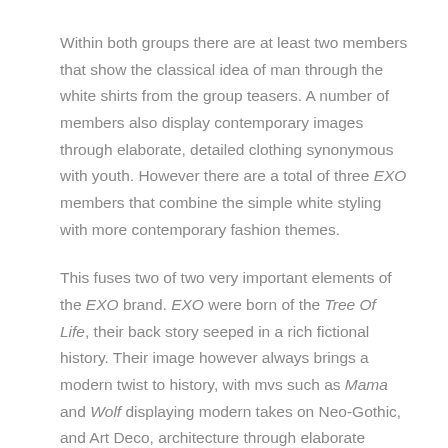Within both groups there are at least two members that show the classical idea of man through the white shirts from the group teasers. A number of members also display contemporary images through elaborate, detailed clothing synonymous with youth. However there are a total of three EXO members that combine the simple white styling with more contemporary fashion themes.
This fuses two of two very important elements of the EXO brand. EXO were born of the Tree Of Life, their back story seeped in a rich fictional history. Their image however always brings a modern twist to history, with mvs such as Mama and Wolf displaying modern takes on Neo-Gothic, and Art Deco, architecture through elaborate towers,